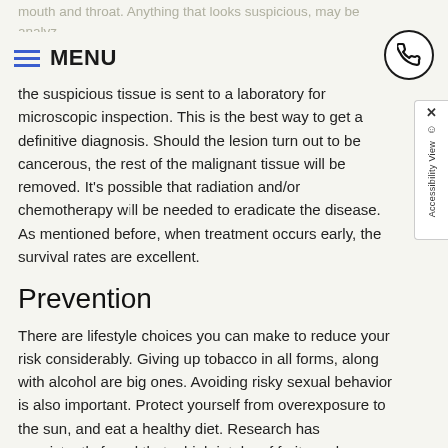mouth and throat. Anything that looks suspicious, may be analyzed through a procedure called a biopsy, in which a small amount of
the suspicious tissue is sent to a laboratory for microscopic inspection. This is the best way to get a definitive diagnosis. Should the lesion turn out to be cancerous, the rest of the malignant tissue will be removed. It's possible that radiation and/or chemotherapy will be needed to eradicate the disease. As mentioned before, when treatment occurs early, the survival rates are excellent.
Prevention
There are lifestyle choices you can make to reduce your risk considerably. Giving up tobacco in all forms, along with alcohol are big ones. Avoiding risky sexual behavior is also important. Protect yourself from overexposure to the sun, and eat a healthy diet. Research has consistently found that a high intake of fruits and vegetables is protective against oral and throat cancer; a good diet will also bolster your immune system. And please remember to schedule regular checkups here at the dental office. An oral cancer screening takes just a few minutes, but it could save your life.